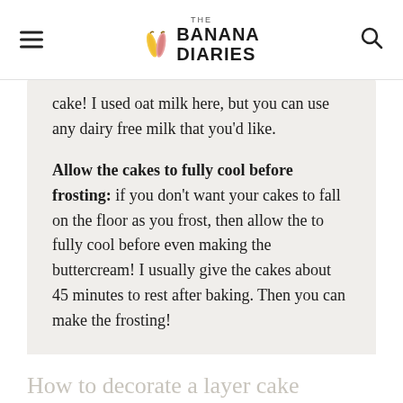THE BANANA DIARIES
cake! I used oat milk here, but you can use any dairy free milk that you’d like.
Allow the cakes to fully cool before frosting: if you don’t want your cakes to fall on the floor as you frost, then allow the to fully cool before even making the buttercream! I usually give the cakes about 45 minutes to rest after baking. Then you can make the frosting!
How to decorate a layer cake